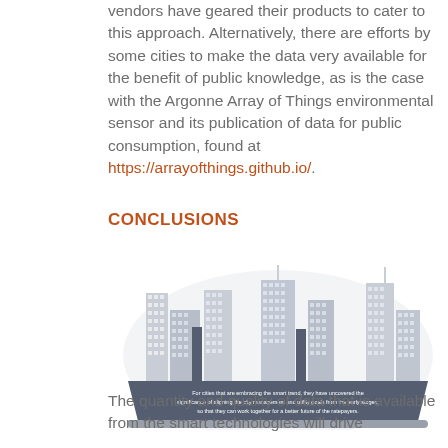vendors have geared their products to cater to this approach. Alternatively, there are efforts by some cities to make the data very available for the benefit of public knowledge, as is the case with the Argonne Array of Things environmental sensor and its publication of data for public consumption, found at https://arrayofthings.github.io/.
CONCLUSIONS
[Figure (illustration): Illustration of a smart city skyline showing buildings with windows and a dark trapezoidal base containing text: 'For cities that are embracing the smart trend, they have uncovered the significance of aligning the city management and utility goals from the early stages, so that they can work together for a better future of the ratepayers.']
The quantity and quality of data that is available from the smart technologies will drive